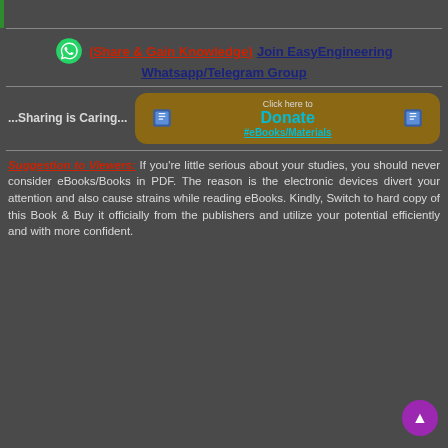[Figure (other): Top bar with green left border]
(Share & Gain Knowledge) Join EasyEngineering Whatsapp/Telegram Group
...Sharing is Caring...
[Figure (other): Donate eBooks/Materials button with book icons]
Suggestion to Viewers: If you're little serious about your studies, you should never consider eBooks/Books in PDF. The reason is the electronic devices divert your attention and also cause strains while reading eBooks. Kindly, Switch to hard copy of this Book & Buy it officially from the publishers and utilize your potential efficiently and with more confident.